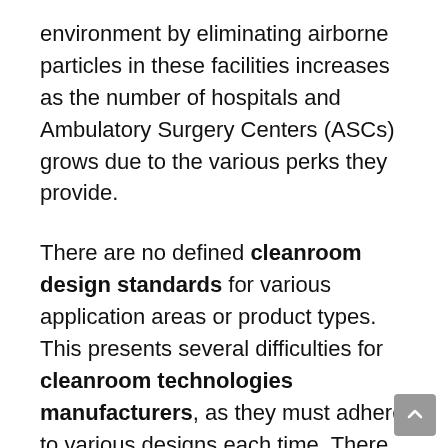environment by eliminating airborne particles in these facilities increases as the number of hospitals and Ambulatory Surgery Centers (ASCs) grows due to the various perks they provide.
There are no defined cleanroom design standards for various application areas or product types. This presents several difficulties for cleanroom technologies manufacturers, as they must adhere to various designs each time. There are no requirements for environmental, product, or facility factors to be controlled in the legislation. Instead, they only give requirements that a corporation must follow after manufacturing a product in